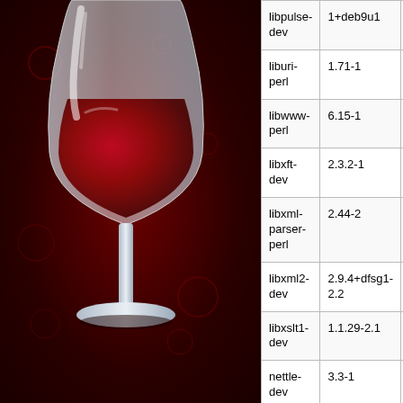[Figure (illustration): Wine application logo — a white wine glass with red wine on a dark red/maroon background with subtle circular patterns]
| Package | Old Version | New Version |
| --- | --- | --- |
| libpulse-dev | 1+deb9u1 | 10.0-2 |
| liburi-perl | 1.71-1 | 1.72-1 |
| libwww-perl | 6.15-1 | 6.15-2 |
| libxft-dev | 2.3.2-1 | 2.3.2-1 |
| libxml-parser-perl | 2.44-2 | 2.44-2 |
| libxml2-dev | 2.9.4+dfsg1-2.2 | 2.9.4+dfsg1-3 |
| libxslt1-dev | 1.1.29-2.1 | 1.1.29- |
| nettle-dev | 3.3-1 | 3.3-2 |